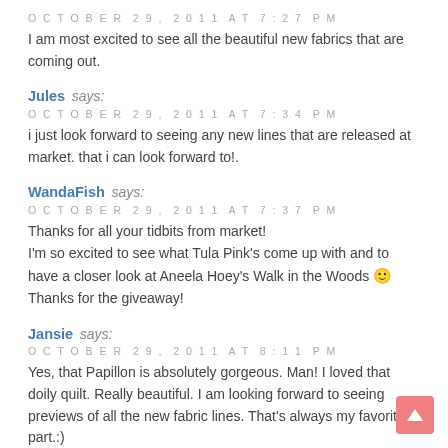OCTOBER 29, 2011 AT 7:27 PM
I am most excited to see all the beautiful new fabrics that are coming out.
Jules says:
OCTOBER 29, 2011 AT 7:34 PM
i just look forward to seeing any new lines that are released at market. that i can look forward to!.
WandaFish says:
OCTOBER 29, 2011 AT 7:37 PM
Thanks for all your tidbits from market! I'm so excited to see what Tula Pink's come up with and to have a closer look at Aneela Hoey's Walk in the Woods 🙂 Thanks for the giveaway!
Jansie says:
OCTOBER 29, 2011 AT 8:11 PM
Yes, that Papillon is absolutely gorgeous. Man! I loved that doily quilt. Really beautiful. I am looking forward to seeing previews of all the new fabric lines. That's always my favorite part.:)